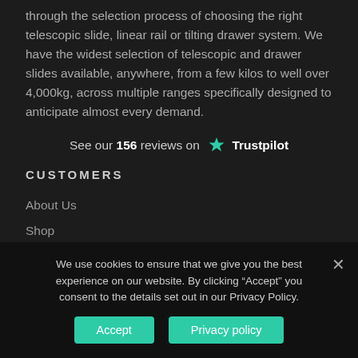through the selection process of choosing the right telescopic slide, linear rail or tilting drawer system. We have the widest selection of telescopic and drawer slides available, anywhere, from a few kilos to well over 4,000kg, across multiple ranges specifically designed to anticipate almost every demand.
See our 156 reviews on Trustpilot
CUSTOMERS
About Us
Shop
Shipping & Returns
Blog
FAQs
We use cookies to ensure that we give you the best experience on our website. By clicking "Accept" you consent to the details set out in our Privacy Policy.